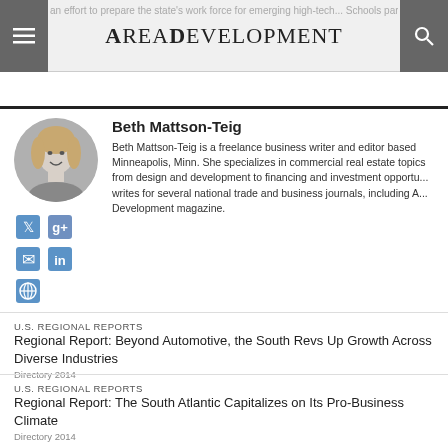AreaDevelopment
Beth Mattson-Teig is a freelance business writer and editor based Minneapolis, Minn. She specializes in commercial real estate topics from design and development to financing and investment opportunities. She writes for several national trade and business journals, including Area Development magazine.
Beth Mattson-Teig
[Figure (photo): Circular headshot photo of Beth Mattson-Teig, a woman with blonde hair, in black and white]
[Figure (illustration): Social media icons: Twitter, Google+, Email, LinkedIn, Website]
U.S. REGIONAL REPORTS
Regional Report: Beyond Automotive, the South Revs Up Growth Across Diverse Industries
Directory 2014
U.S. REGIONAL REPORTS
Regional Report: The South Atlantic Capitalizes on Its Pro-Business Climate
Directory 2014
SITE SELECTION
Automation Propels U.S. Manufacturing Forward
Q4 / Fall 2013